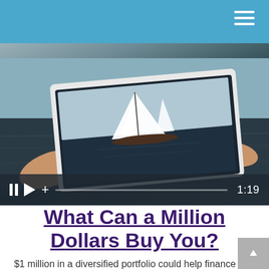[Figure (screenshot): Video player showing a person holding a tablet displaying a sailboat image. Controls show pause, play, plus icons and a progress bar, with time 1:19]
What Can a Million Dollars Buy You?
$1 million in a diversified portfolio could help finance part of your retirement.